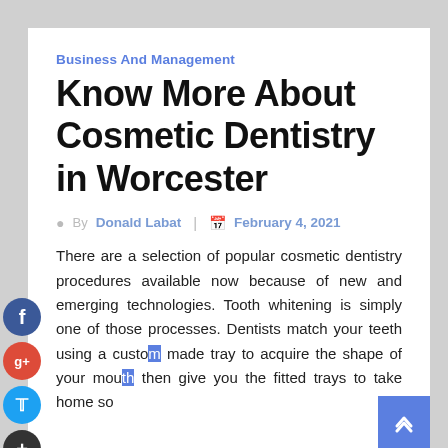Business And Management
Know More About Cosmetic Dentistry in Worcester
By Donald Labat  |  February 4, 2021
There are a selection of popular cosmetic dentistry procedures available now because of new and emerging technologies. Tooth whitening is simply one of those processes. Dentists match your teeth using a custom made tray to acquire the shape of your mouth then give you the fitted trays to take home so